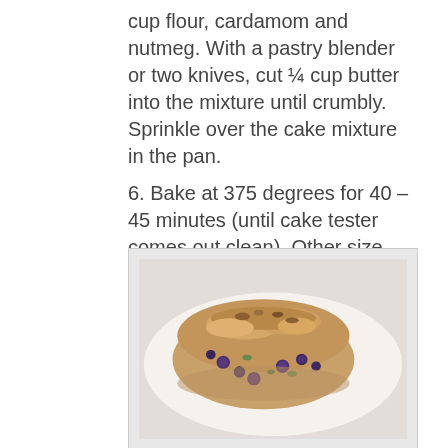cup flour, cardamom and nutmeg. With a pastry blender or two knives, cut ¼ cup butter into the mixture until crumbly. Sprinkle over the cake mixture in the pan.
6. Bake at 375 degrees for 40 – 45 minutes (until cake tester comes out clean). Other size baking pans may be used – just adjust the cooking time accordingly.
7. Serve warm or cold, plain or with vanilla ice cream or whipped cream.
[Figure (photo): A slice of blueberry cake or bread with a crumbly topping, showing blueberries and green bits inside, served on a white plate or surface.]